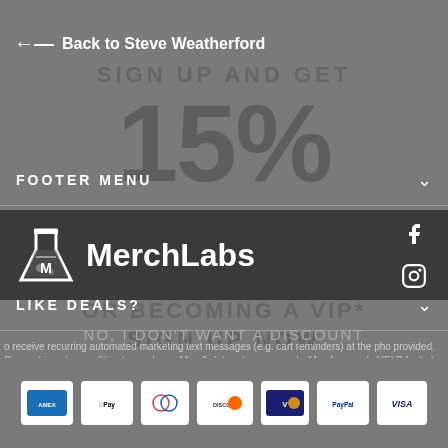Back to Steve Weatherford
SIGN UP AND GET
15% OFF
OR BECOMING A VIP*
FOOTER MENU
MAIN MENU
LIKE DEALS?
o receive recurring automated marketing text messages (e.g. cart reminders) at the pho provided. Consent is not a condition to purchase. Msg & data rates may apply. Msg freque ply HELP for help and STOP to cancel. View our Terms of Service and Privacy Policy.
[Figure (logo): MerchLabs logo with flask icon and brand name]
SIGN UP NOW
NO, I DON'T WANT A DISCOUNT
[Figure (infographic): Payment method icons: American Express, Apple Pay, Diners Club, Discover, Visa Checkout, PayPal, Visa]